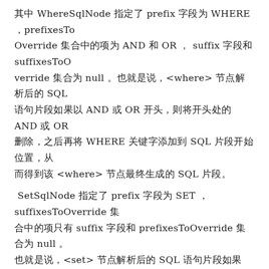其中 WhereSqlNode 指定了 prefix 字段为 WHERE ，prefixesToOverride 集合中的项为 AND 和 OR ，suffix 字段和 suffixesToOverride 集合为 null 。也就是说，<where> 节点解析后的 SQL 语句片段如果以 AND 或 OR 开头，则将开头处的 AND 或 OR 删除，之后再将 WHERE 关键字添加到 SQL 片段开始位置，从而得到该 <where> 节点最终生成的 SQL 片段。
SetSqlNode 指定了 prefix 字段为 SET ，suffixesToOverride 集合中的项只有 suffix 字段和 prefixesToOverride 集合为 null 。也就是说，<set> 节点解析后的 SQL 语句片段如果以，结尾，则将结尾处的删除掉，之后再将 SET 关键字添加到 SQL 片段的开始位置，从而得到该 <set> 节点最终生成的 SQL 片段。
5、ForeachSqlNode
在动态 SQL 语句中构建 IN 条件语句的时候，通常需要对一个集合进行迭代，MyBatis 提供了 <foreach> 标签实现该功能。在使用 <foreach> 标签迭代集合时，不仅可以使用集合的元素和索引值，还可以在循环开始之前或结束之后添加指定的字符